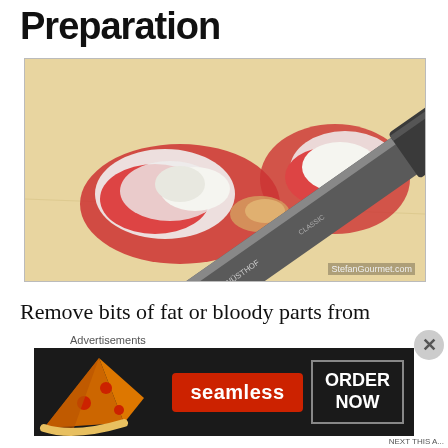Preparation
[Figure (photo): Raw chicken pieces on a cutting board with a knife (Wüsthof Classic) cutting/trimming the meat. Photo credit: StefanGourmet.com]
Remove bits of fat or bloody parts from the chicken
Advertisements
[Figure (photo): Seamless food delivery advertisement banner showing pizza on left, seamless logo in red button in center, and ORDER NOW button on right, all on dark background]